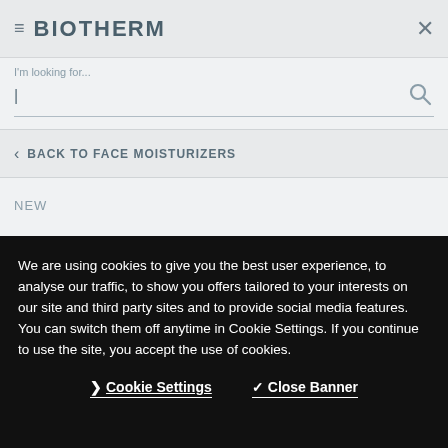≡ BIOTHERM ×
I'm looking for...
< BACK TO FACE MOISTURIZERS
NEW
We are using cookies to give you the best user experience, to analyse our traffic, to show you offers tailored to your interests on our site and third party sites and to provide social media features. You can switch them off anytime in Cookie Settings. If you continue to use the site, you accept the use of cookies.
Cookie Settings   Close Banner